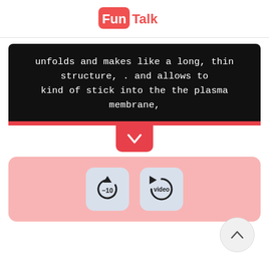FunTalk
unfolds and makes like a long, thin structure, . and allows to kind of stick into the the plasma membrane,
[Figure (screenshot): UI controls: replay -10 seconds button and replay video button]
[Figure (other): Scroll to top circular button with upward chevron]